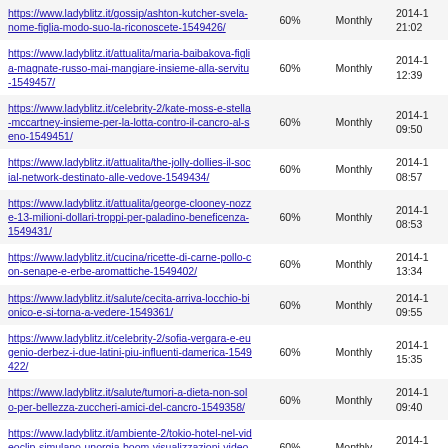| URL | Priority | Change Freq | Last Modified |
| --- | --- | --- | --- |
| https://www.ladyblitz.it/gossip/ashton-kutcher-svela-nome-figlia-modo-suo-la-riconoscete-1549426/ | 60% | Monthly | 2014-1 21:02 |
| https://www.ladyblitz.it/attualita/maria-baibakova-figlia-magnate-russo-mai-mangiare-insieme-alla-servitu-1549457/ | 60% | Monthly | 2014-1 12:39 |
| https://www.ladyblitz.it/celebrity-2/kate-moss-e-stella-mccartney-insieme-per-la-lotta-contro-il-cancro-al-seno-1549451/ | 60% | Monthly | 2014-1 09:50 |
| https://www.ladyblitz.it/attualita/the-jolly-dollies-il-social-network-destinato-alle-vedove-1549434/ | 60% | Monthly | 2014-1 08:57 |
| https://www.ladyblitz.it/attualita/george-clooney-nozze-13-milioni-dollari-troppi-per-paladino-beneficenza-1549431/ | 60% | Monthly | 2014-1 08:53 |
| https://www.ladyblitz.it/cucina/ricette-di-carne-pollo-con-senape-e-erbe-aromattiche-1549402/ | 60% | Monthly | 2014-1 13:34 |
| https://www.ladyblitz.it/salute/cecita-arriva-locchio-bionico-e-si-torna-a-vedere-1549361/ | 60% | Monthly | 2014-1 09:55 |
| https://www.ladyblitz.it/celebrity-2/sofia-vergara-e-eugenio-derbez-i-due-latini-piu-influenti-damerica-1549422/ | 60% | Monthly | 2014-1 15:35 |
| https://www.ladyblitz.it/salute/tumori-a-dieta-non-solo-per-bellezza-zuccheri-amici-del-cancro-1549358/ | 60% | Monthly | 2014-1 09:40 |
| https://www.ladyblitz.it/ambiente-2/tokio-hotel-nel-videoclip-simulano-unorgia-boom-visualizzazioni-video-1549394/ | 60% | Monthly | 2014-1 14:35 |